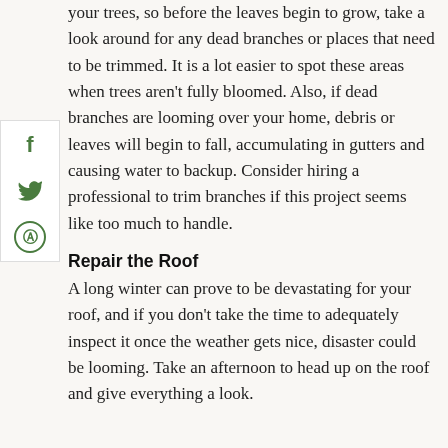your trees, so before the leaves begin to grow, take a look around for any dead branches or places that need to be trimmed. It is a lot easier to spot these areas when trees aren't fully bloomed. Also, if dead branches are looming over your home, debris or leaves will begin to fall, accumulating in gutters and causing water to backup. Consider hiring a professional to trim branches if this project seems like too much to handle.
Repair the Roof
A long winter can prove to be devastating for your roof, and if you don't take the time to adequately inspect it once the weather gets nice, disaster could be looming. Take an afternoon to head up on the roof and give everything a look.